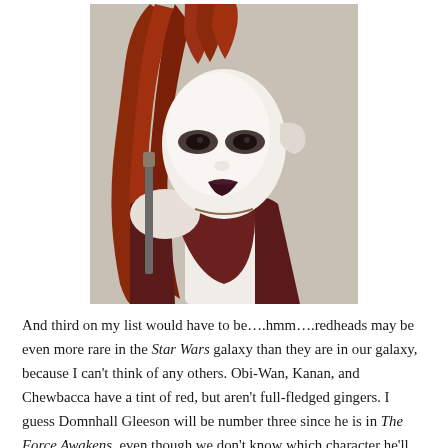[Figure (photo): A costumed alien/Star Wars character with white face makeup, dark eye makeup, and long red hair styled in a mohawk. Wearing a dark maroon vest costume. Character appears to be from Star Wars.]
And third on my list would have to be….hmm….redheads may be even more rare in the Star Wars galaxy than they are in our galaxy, because I can't think of any others. Obi-Wan, Kanan, and Chewbacca have a tint of red, but aren't full-fledged gingers. I guess Domnhall Gleeson will be number three since he is in The Force Awakens, even though we don't know which character he'll be playing yet. I loved him in the Harry Potter movies and I'm sure he'll be great in The Force Awakens. If he has the stereotypical redhead temper he'd make a good Sith Lord.